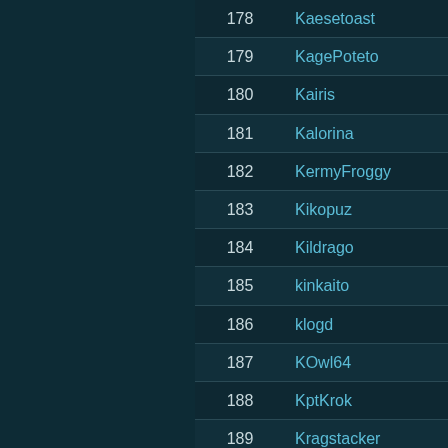| # | Name |
| --- | --- |
| 178 | Kaesetoast |
| 179 | KagePoteto |
| 180 | Kairis |
| 181 | Kalorina |
| 182 | KermyFroggy |
| 183 | Kikopuz |
| 184 | Kildrago |
| 185 | kinkaito |
| 186 | klogd |
| 187 | KOwl64 |
| 188 | KptKrok |
| 189 | Kragstacker |
| 190 | Krazymule |
| 191 | Kremer33 |
| 192 | krootlord |
| 193 | ksterdude |
| 194 | Kuramaa |